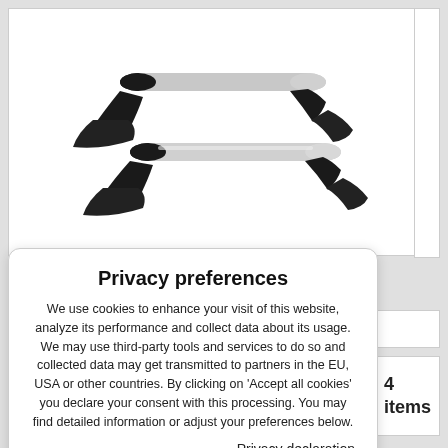[Figure (photo): Two silver/grey roof rack bars with black end caps and mounting feet, arranged diagonally on a white background]
Privacy preferences
We use cookies to enhance your visit of this website, analyze its performance and collect data about its usage. We may use third-party tools and services to do so and collected data may get transmitted to partners in the EU, USA or other countries. By clicking on 'Accept all cookies' you declare your consent with this processing. You may find detailed information or adjust your preferences below.
Privacy declaration
Show details
Accept all cookies
4
items